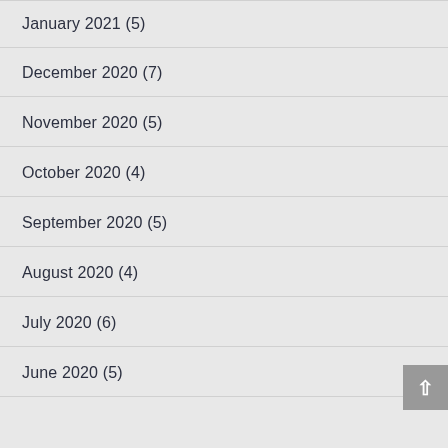January 2021 (5)
December 2020 (7)
November 2020 (5)
October 2020 (4)
September 2020 (5)
August 2020 (4)
July 2020 (6)
June 2020 (5)